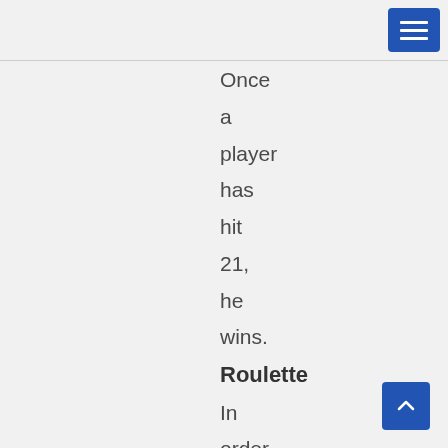Once a player has hit 21, he wins.
Roulette
In order to have a good roulette experience